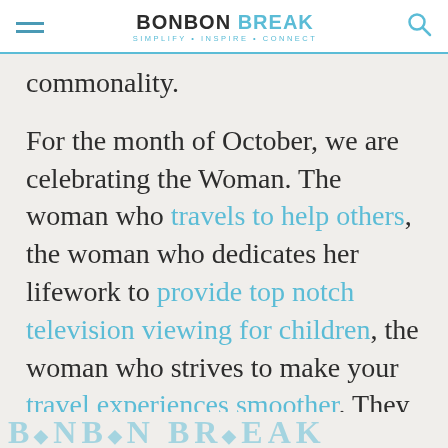BONBON BREAK · SIMPLIFY · INSPIRE · CONNECT
commonality.
For the month of October, we are celebrating the Woman. The woman who travels to help others, the woman who dedicates her lifework to provide top notch television viewing for children, the woman who strives to make your travel experiences smoother. They each bring something valuable to our lives and there are so many more within the rooms this month and within the upcoming issues.